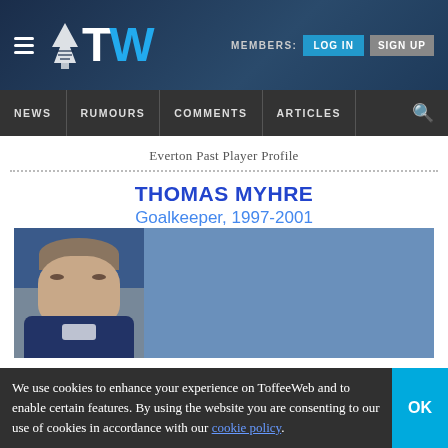TW — ToffeeWeb. MEMBERS: LOG IN | SIGN UP
NEWS | RUMOURS | COMMENTS | ARTICLES
Everton Past Player Profile
THOMAS MYHRE
Goalkeeper, 1997-2001
[Figure (photo): Photo of Thomas Myhre in Everton kit, alongside a blue info panel]
We use cookies to enhance your experience on ToffeeWeb and to enable certain features. By using the website you are consenting to our use of cookies in accordance with our cookie policy.